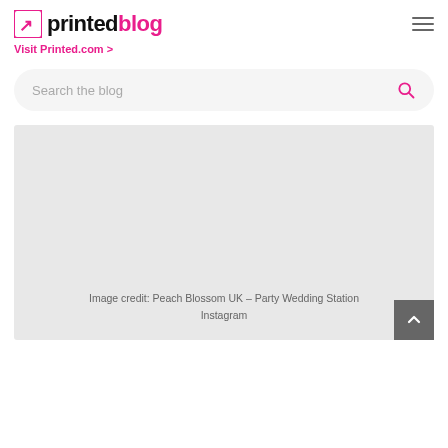printed blog
Visit Printed.com >
Search the blog
[Figure (photo): Large light grey placeholder image block]
Image credit: Peach Blossom UK – Party Wedding Station Instagram